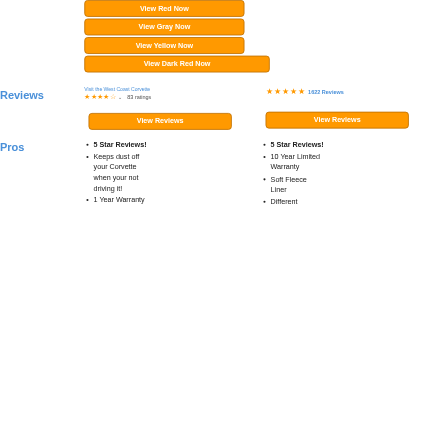View Red Now
View Gray Now
View Yellow Now
View Dark Red Now
Reviews
Visit the West Coast Corvette  ★★★★☆  83 ratings
★★★★★  1622 Reviews
View Reviews
View Reviews
Pros
5 Star Reviews!
Keeps dust off your Corvette when your not driving it!
1 Year Warranty
5 Star Reviews!
10 Year Limited Warranty
Soft Fleece Liner
Different